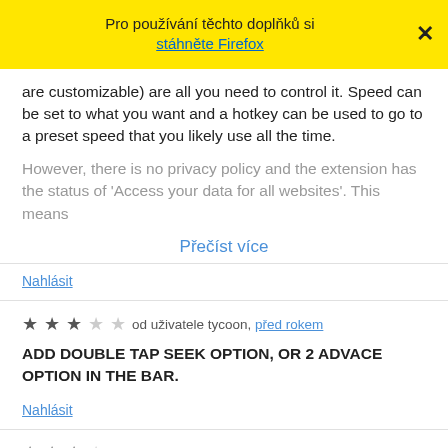Pro používání těchto doplňků si stáhněte Firefox
are customizable) are all you need to control it. Speed can be set to what you want and a hotkey can be used to go to a preset speed that you likely use all the time.
However, there is no privacy policy and the extension has the status of 'Access your data for all websites'. This means
Přečíst více
Nahlásit
★★★☆☆ od uživatele tycoon, před rokem
ADD DOUBLE TAP SEEK OPTION, OR 2 ADVACE OPTION IN THE BAR.
Nahlásit
★★★☆ od uživatele natuyorumu, před 2 lety